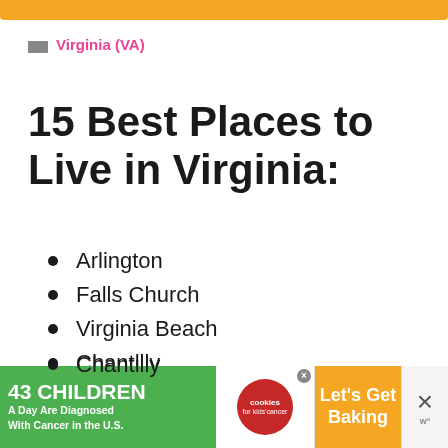Virginia (VA)
15 Best Places to Live in Virginia:
Arlington
Falls Church
Virginia Beach
Chantilly
Williamsburg
Vienna
Lorton
[Figure (other): Advertisement banner: '43 CHILDREN A Day Are Diagnosed With Cancer in the U.S.' with cookies for kids cancer logo and 'Let's Get Baking' call to action]